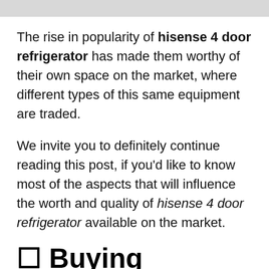The rise in popularity of hisense 4 door refrigerator has made them worthy of their own space on the market, where different types of this same equipment are traded.
We invite you to definitely continue reading this post, if you’d like to know most of the aspects that will influence the worth and quality of hisense 4 door refrigerator available on the market.
☐ Buying hisense 4 door